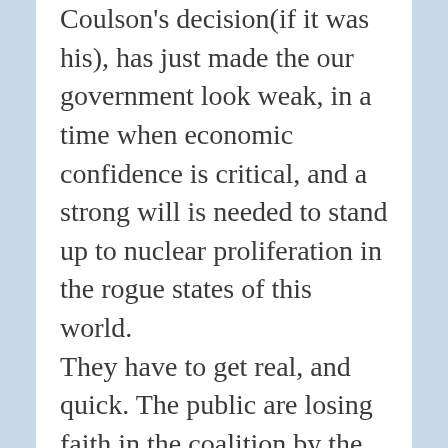Coulson's decision(if it was his), has just made the our government look weak, in a time when economic confidence is critical, and a strong will is needed to stand up to nuclear proliferation in the rogue states of this world. They have to get real, and quick. The public are losing faith in the coalition by the day, so heaven knows how the city and foreign markets view us. It speaks volumes how people who failed in